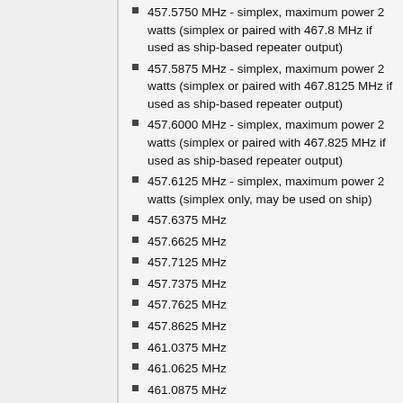457.5750 MHz - simplex, maximum power 2 watts (simplex or paired with 467.8 MHz if used as ship-based repeater output)
457.5875 MHz - simplex, maximum power 2 watts (simplex or paired with 467.8125 MHz if used as ship-based repeater output)
457.6000 MHz - simplex, maximum power 2 watts (simplex or paired with 467.825 MHz if used as ship-based repeater output)
457.6125 MHz - simplex, maximum power 2 watts (simplex only, may be used on ship)
457.6375 MHz
457.6625 MHz
457.7125 MHz
457.7375 MHz
457.7625 MHz
457.8625 MHz
461.0375 MHz
461.0625 MHz
461.0875 MHz
461.1125 MHz
461.1375 MHz
461.1625 MHz